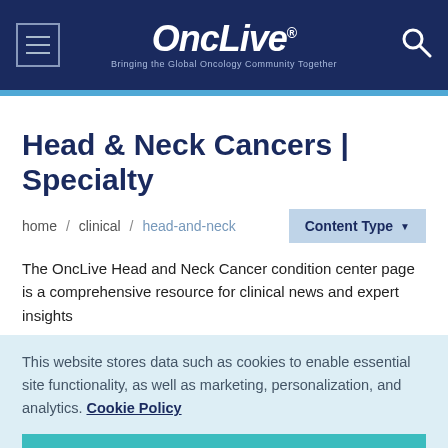OncLive — Bringing the Global Oncology Community Together
Head & Neck Cancers | Specialty
home / clinical / head-and-neck
Content Type
The OncLive Head and Neck Cancer condition center page is a comprehensive resource for clinical news and expert insights
This website stores data such as cookies to enable essential site functionality, as well as marketing, personalization, and analytics. Cookie Policy
Accept
Deny